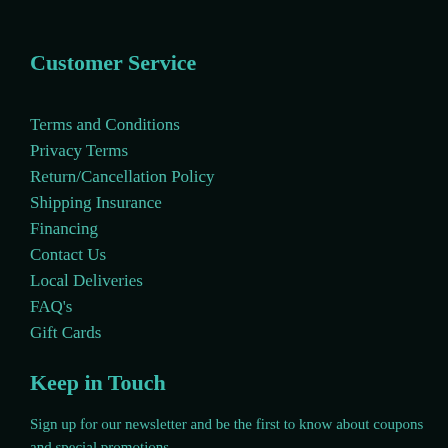Customer Service
Terms and Conditions
Privacy Terms
Return/Cancellation Policy
Shipping Insurance
Financing
Contact Us
Local Deliveries
FAQ's
Gift Cards
Keep in Touch
Sign up for our newsletter and be the first to know about coupons and special promotions.